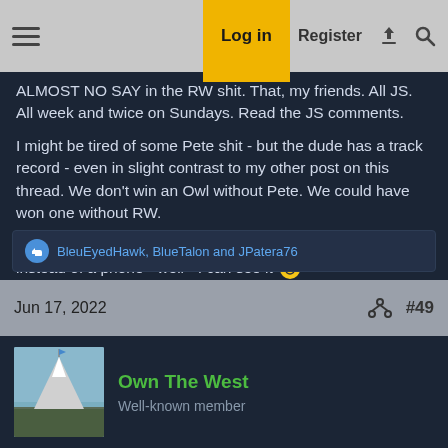Log in  Register
ALMOST NO SAY in the RW shit. That, my friends. All JS. All week and twice on Sundays. Read the JS comments.
I might be tired of some Pete shit - but the dude has a track record - even in slight contrast to my other post on this thread. We don't win an Owl without Pete. We could have won one without RW.
Having said that - if he could throw a ******* challenge flag instead of a phone - well - I can see it 🙂
BleuEyedHawk, BlueTalon and JPatera76
Jun 17, 2022  #49
Own The West
Well-known member